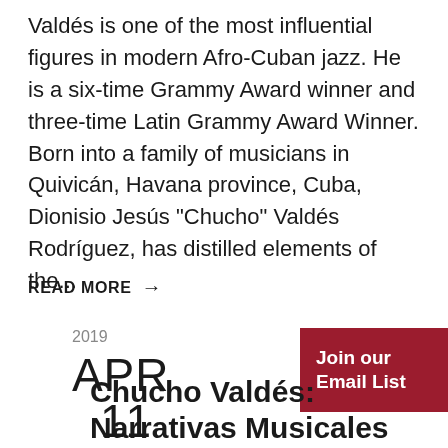Valdés is one of the most influential figures in modern Afro-Cuban jazz. He is a six-time Grammy Award winner and three-time Latin Grammy Award Winner. Born into a family of musicians in Quivicán, Havana province, Cuba, Dionisio Jesús "Chucho" Valdés Rodríguez, has distilled elements of the...
READ MORE →
2019
APR
11
Chucho Valdés: Narrativas Musicales
Join our Email List